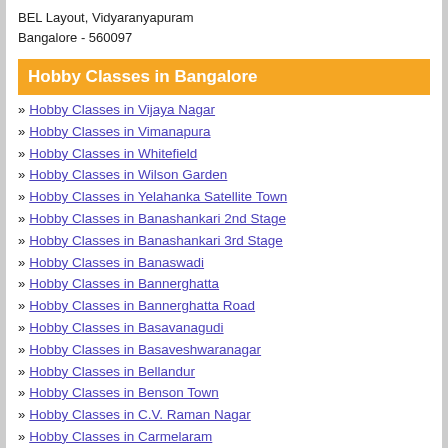BEL Layout, Vidyaranyapuram
Bangalore - 560097
Hobby Classes in Bangalore
» Hobby Classes in Vijaya Nagar
» Hobby Classes in Vimanapura
» Hobby Classes in Whitefield
» Hobby Classes in Wilson Garden
» Hobby Classes in Yelahanka Satellite Town
» Hobby Classes in Banashankari 2nd Stage
» Hobby Classes in Banashankari 3rd Stage
» Hobby Classes in Banaswadi
» Hobby Classes in Bannerghatta
» Hobby Classes in Bannerghatta Road
» Hobby Classes in Basavanagudi
» Hobby Classes in Basaveshwaranagar
» Hobby Classes in Bellandur
» Hobby Classes in Benson Town
» Hobby Classes in C.V. Raman Nagar
» Hobby Classes in Carmelaram
» Hobby Classes in Chamrajpet
» Hobby Classes in Chickpet